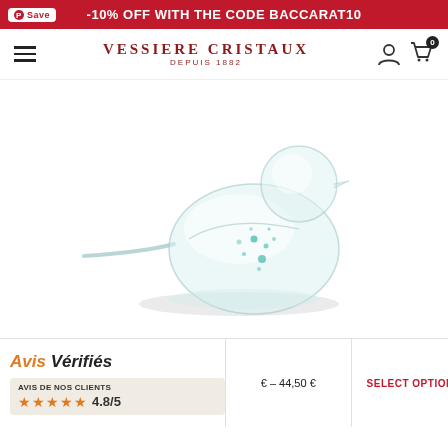Save | -10% OFF WITH THE CODE BACCARAT10
[Figure (logo): Vessiere Cristaux Depuis 1882 logo with navigation icons and hamburger menu]
[Figure (photo): A glass bird figurine with teal speckles, transparent crystal, sitting pose with long tail, on white background]
[Figure (logo): Avis Verifies logo and rating widget showing 4.8/5 stars with AVIS DE NOS CLIENTS label]
€ – 44,50 €
SELECT OPTIONS